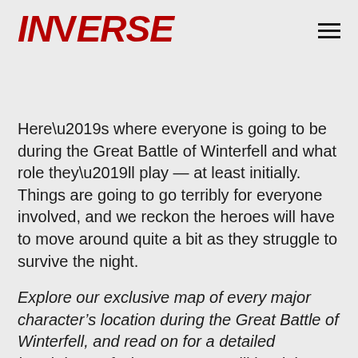INVERSE
Here’s where everyone is going to be during the Great Battle of Winterfell and what role they’ll play — at least initially. Things are going to go terribly for everyone involved, and we reckon the heroes will have to move around quite a bit as they struggle to survive the night.
Explore our exclusive map of every major character’s location during the Great Battle of Winterfell, and read on for a detailed breakdown of what everyone will be doing when the White Walkers attack.
Scroll on for a 360MB preview of the great battle...